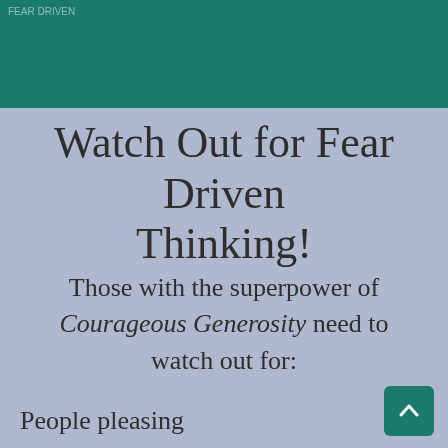FEAR DRIVEN
Watch Out for Fear Driven Thinking!
Those with the superpower of Courageous Generosity need to watch out for:
People pleasing